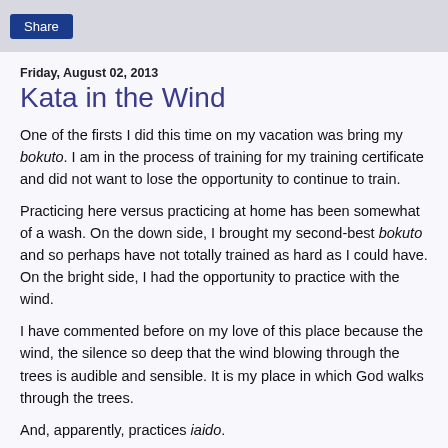Share
Friday, August 02, 2013
Kata in the Wind
One of the firsts I did this time on my vacation was bring my bokuto. I am in the process of training for my training certificate and did not want to lose the opportunity to continue to train.
Practicing here versus practicing at home has been somewhat of a wash. On the down side, I brought my second-best bokuto and so perhaps have not totally trained as hard as I could have. On the bright side, I had the opportunity to practice with the wind.
I have commented before on my love of this place because the wind, the silence so deep that the wind blowing through the trees is audible and sensible. It is my place in which God walks through the trees.
And, apparently, practices iaido.